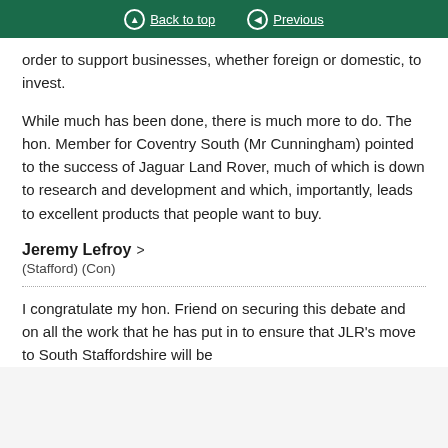Back to top  Previous
order to support businesses, whether foreign or domestic, to invest.
While much has been done, there is much more to do. The hon. Member for Coventry South (Mr Cunningham) pointed to the success of Jaguar Land Rover, much of which is down to research and development and which, importantly, leads to excellent products that people want to buy.
Jeremy Lefroy > (Stafford) (Con)
I congratulate my hon. Friend on securing this debate and on all the work that he has put in to ensure that JLR's move to South Staffordshire will be